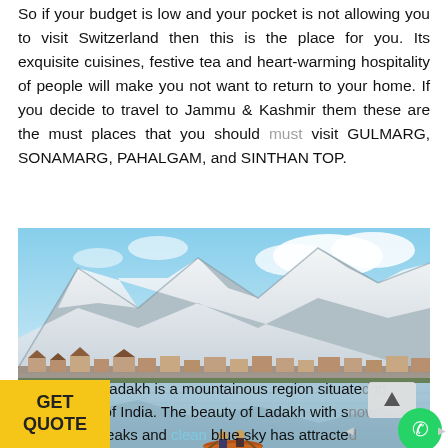So if your budget is low and your pocket is not allowing you to visit Switzerland then this is the place for you. Its exquisite cuisines, festive tea and heart-warming hospitality of people will make you not want to return to your home. If you decide to travel to Jammu & Kashmir them these are the must places that you should must visit GULMARG, SONAMARG, PAHALGAM, and SINTHAN TOP.
[Figure (photo): A scenic photograph showing snow-capped mountains reflected in a calm lake, with traditional wooden houses along the shoreline and two people paddling in a small boat in the foreground. This appears to be Dal Lake in Kashmir, India.]
Ladakh: Ladakh is a mountainous region situated in the north of India. The beauty of Ladakh with snow covered peaks and clean blue sky has attracted...